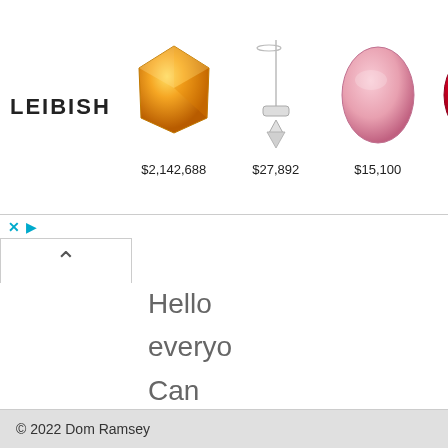[Figure (screenshot): Leibish jewelry/gem advertisement banner showing 5 gem items with prices: $2,142,688 (orange cushion cut diamond), $27,892 (white pendant necklace), $15,100 (pink oval gem), $203,402 (red oval ruby), $118,472 (pink diamond)]
Hello everyone Can anyone please me why that wh get a voicem messag
© 2022 Dom Ramsey